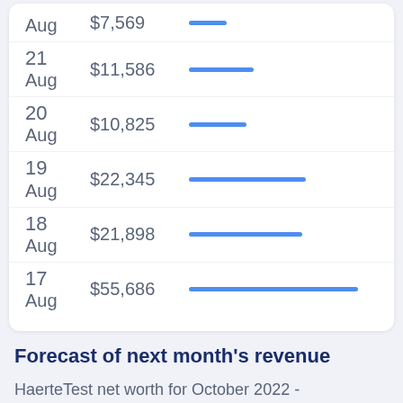[Figure (bar-chart): Daily revenue (partial list)]
Forecast of next month's revenue
HaerteTest net worth for October 2022 -